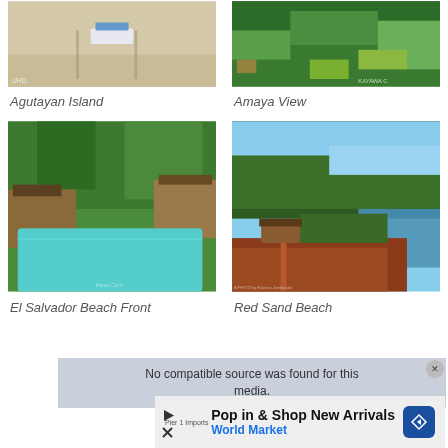[Figure (photo): Aerial view of a boat on a sandy beach, Agutayan Island]
Agutayan Island
[Figure (photo): Aerial view of dense green trees with a watermark 'KAYAWA C', Amaya View]
Amaya View
[Figure (photo): Resort with swimming pool surrounded by tropical trees, El Salvador Beach Front]
El Salvador Beach Front
[Figure (photo): Red sand beach along a mountainside with clear blue water, Red Sand Beach]
Red Sand Beach
[Figure (screenshot): Video error overlay: 'No compatible source was found for this media.']
[Figure (screenshot): Advertisement overlay: 'Pop in & Shop New Arrivals, World Market' with arrow icon and play/close buttons]